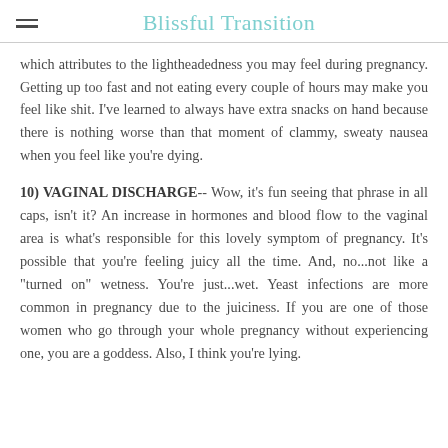Blissful Transition
which attributes to the lightheadedness you may feel during pregnancy.  Getting up too fast and not eating every couple of hours may make you feel like shit.  I've learned to always have extra snacks on hand because there is nothing worse than that moment of clammy, sweaty nausea when you feel like you're dying.
10) VAGINAL DISCHARGE-- Wow, it's fun seeing that phrase in all caps, isn't it?  An increase in hormones and blood flow to the vaginal area is what's responsible for this lovely symptom of pregnancy.  It's possible that you're feeling juicy all the time.  And, no...not like a "turned on" wetness.  You're just...wet.  Yeast infections are more common in pregnancy due to the juiciness.  If you are one of those women who go through your whole pregnancy without experiencing one, you are a goddess.  Also, I think you're lying.